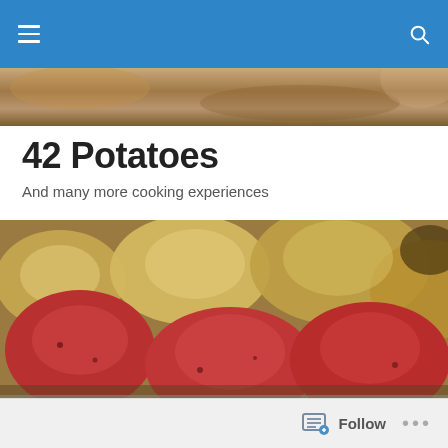Navigation bar with hamburger menu and search icon
[Figure (photo): Partial top strip of a photo showing brown/tan background]
42 Potatoes
And many more cooking experiences
[Figure (photo): Close-up photo of mixed red and tan/gold potatoes piled together]
TAGGED WITH DILL
Nana's Blog
Follow ...